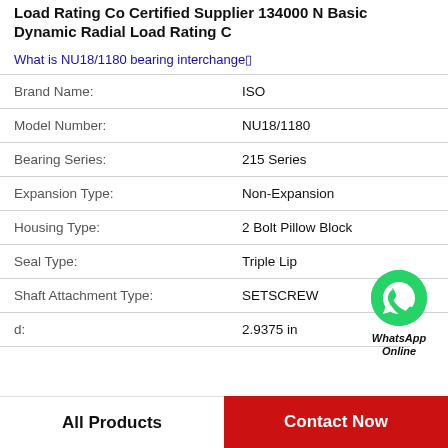Load Rating Co Certified Supplier 134000 N Basic Dynamic Radial Load Rating C
What is NU18/1180 bearing interchange?
| Property | Value |
| --- | --- |
| Brand Name: | ISO |
| Model Number: | NU18/1180 |
| Bearing Series: | 215 Series |
| Expansion Type: | Non-Expansion |
| Housing Type: | 2 Bolt Pillow Block |
| Seal Type: | Triple Lip |
| Shaft Attachment Type: | SETSCREW |
| d: | 2.9375 in |
[Figure (logo): WhatsApp Online green circle logo with phone icon and text WhatsApp Online]
All Products
Contact Now